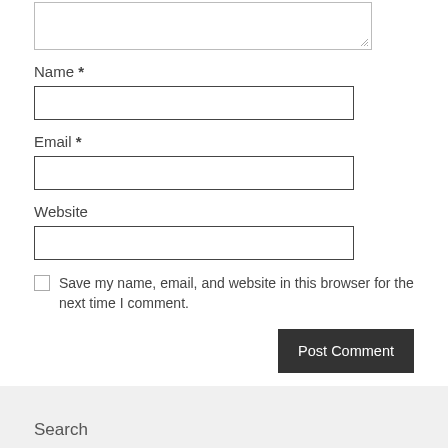[Figure (screenshot): Textarea input box (top portion cut off, showing bottom of comment textarea with resize handle)]
Name *
[Figure (screenshot): Name text input field (empty, with border)]
Email *
[Figure (screenshot): Email text input field (empty, with border)]
Website
[Figure (screenshot): Website text input field (empty, with border)]
Save my name, email, and website in this browser for the next time I comment.
[Figure (screenshot): Post Comment button (dark grey/black)]
Search